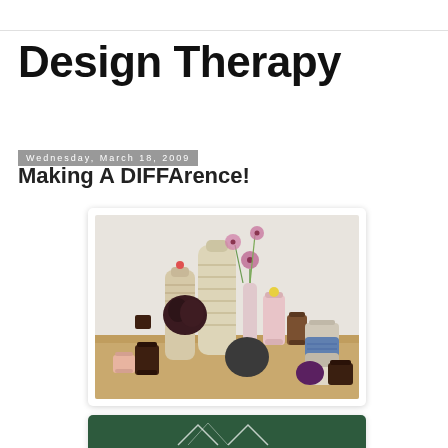Design Therapy
Wednesday, March 18, 2009
Making A DIFFArence!
[Figure (photo): A styled arrangement of thread spools, yarn balls, bottles wrapped in twine, and small vases with pink wildflowers on a wooden board, photographed against a white background.]
[Figure (photo): Partial view of a second image, appears to be a dark green background with geometric line drawings or decorations.]